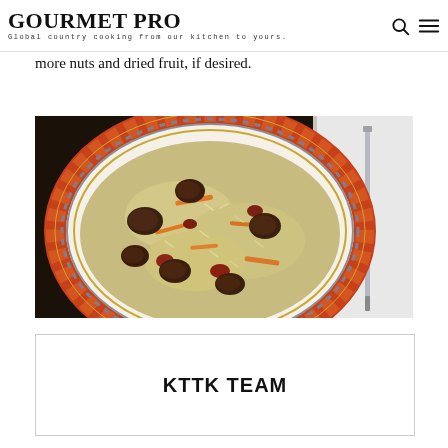GOURMET PRO — Global country cooking from our kitchen to yours.
more nuts and dried fruit, if desired.
[Figure (photo): A decorative plate with orange and grey patterned rim, filled with plov (Central Asian rice pilaf) with meat chunks, carrots, and dried fruit, served with a knife on a white napkin]
KTTK TEAM